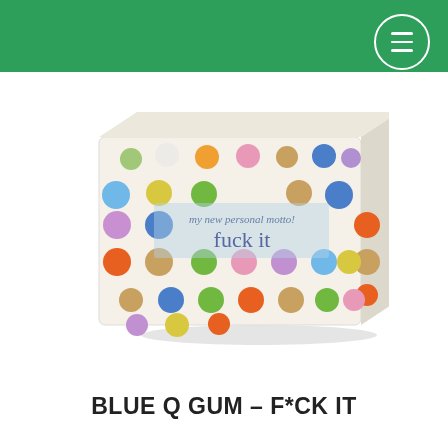[Figure (photo): Product photo of Blue Q Gum F*ck It box — a rectangular gum box with cream/white background covered in colorful polka dots (blue, green, orange, pink, yellow, purple, brown) and text 'my new personal motto! fuck it' in a light blue banner in the center.]
BLUE Q GUM – F*CK IT